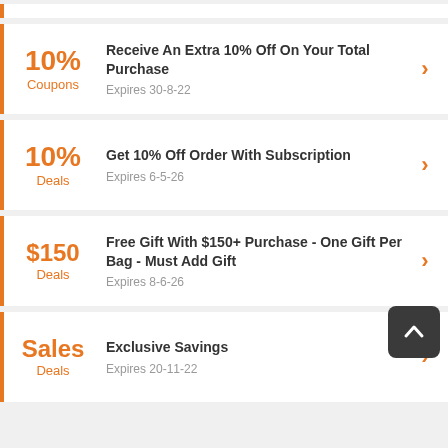10% Coupons – Receive An Extra 10% Off On Your Total Purchase. Expires 30-8-22
10% Deals – Get 10% Off Order With Subscription. Expires 6-5-26
$150 Deals – Free Gift With $150+ Purchase - One Gift Per Bag - Must Add Gift. Expires 8-6-26
Sales Deals – Exclusive Savings. Expires 20-11-22